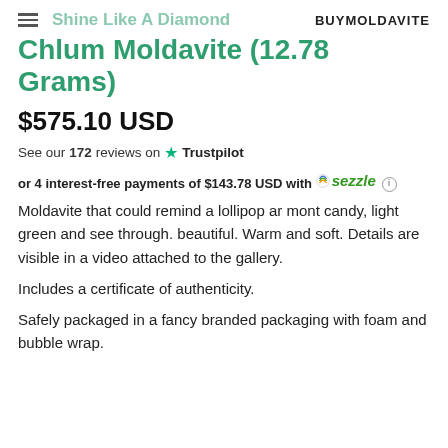Shine Like A Diamond  BUYMOLDAVITE
Chlum Moldavite (12.78 Grams)
$575.10 USD
See our 172 reviews on  Trustpilot
or 4 interest-free payments of $143.78 USD with sezzle
Moldavite that could remind a lollipop ar mont candy, light green and see through. beautiful. Warm and soft. Details are visible in a video attached to the gallery.
Includes a certificate of authenticity.
Safely packaged in a fancy branded packaging with foam and bubble wrap.